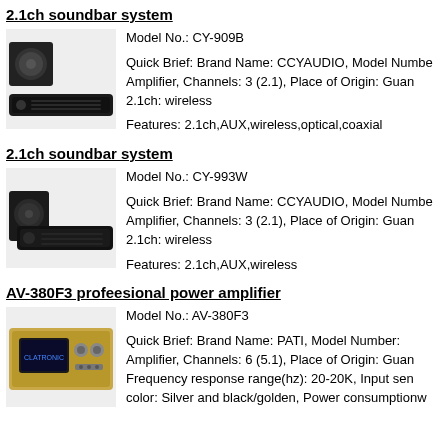2.1ch soundbar system
[Figure (photo): Photo of soundbar system with subwoofer, model CY-909B]
Model No.: CY-909B
Quick Brief: Brand Name: CCYAUDIO, Model Number: Amplifier, Channels: 3 (2.1), Place of Origin: Guan 2.1ch: wireless
Features: 2.1ch,AUX,wireless,optical,coaxial
2.1ch soundbar system
[Figure (photo): Photo of soundbar system with subwoofer, model CY-993W]
Model No.: CY-993W
Quick Brief: Brand Name: CCYAUDIO, Model Number: Amplifier, Channels: 3 (2.1), Place of Origin: Guan 2.1ch: wireless
Features: 2.1ch,AUX,wireless
AV-380F3 profeesional power amplifier
[Figure (photo): Photo of professional power amplifier AV-380F3, gold/silver color]
Model No.: AV-380F3
Quick Brief: Brand Name: PATI, Model Number: Amplifier, Channels: 6 (5.1), Place of Origin: Guan Frequency response range(hz): 20-20K, Input sen color: Silver and black/golden, Power consumptionw